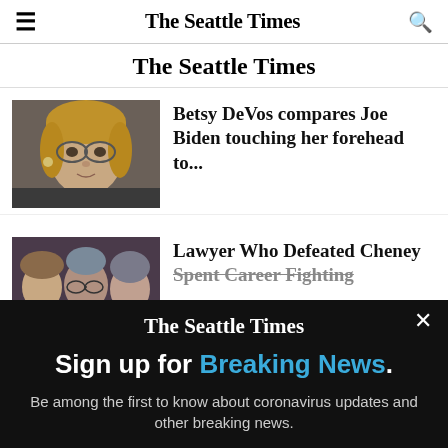The Seattle Times
The Seattle Times
[Figure (photo): Photo of Betsy DeVos, a woman with blonde hair and glasses, looking to the side]
Betsy DeVos compares Joe Biden touching her forehead to...
[Figure (photo): Photo of a crowd of people, a woman with glasses and gray hair visible prominently]
Lawyer Who Defeated Cheney Spent Career Fighting...
[Figure (screenshot): Modal popup overlay on black background with Seattle Times newsletter signup]
The Seattle Times
Sign up for Breaking News.
Be among the first to know about coronavirus updates and other breaking news.